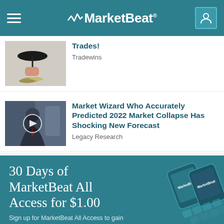MarketBeat
[Figure (screenshot): Truncated article thumbnail showing umbrella over coins]
Trades!
Tradewins
[Figure (screenshot): Video thumbnail showing man in suit with play button overlay]
Market Wizard Who Accurately Predicted 2022 Market Collapse Has Shocking New Forecast
Legacy Research
[Figure (illustration): 30 Days of MarketBeat All Access for $1.00 promotional banner with device images]
30 Days of MarketBeat All Access for $1.00
Sign up for MarketBeat All Access to gain